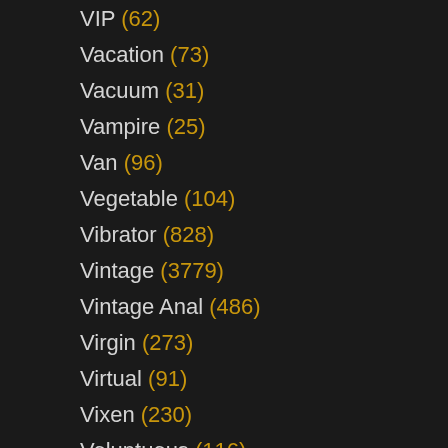VIP (62)
Vacation (73)
Vacuum (31)
Vampire (25)
Van (96)
Vegetable (104)
Vibrator (828)
Vintage (3779)
Vintage Anal (486)
Virgin (273)
Virtual (91)
Vixen (230)
Voluptuous (116)
Voyeur (12349)
WTF (8)
Waitress (41)